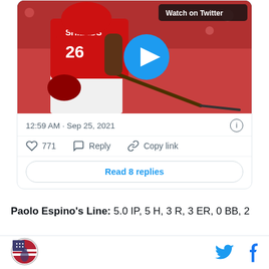[Figure (screenshot): Twitter/X embedded tweet card showing a baseball player in a red Cincinnati Reds jersey (#26, SHIELDS) swinging a bat, with a blue play button overlay and 'Watch on Twitter' badge in top right corner.]
12:59 AM · Sep 25, 2021
771   Reply   Copy link
Read 8 replies
Paolo Espino's Line: 5.0 IP, 5 H, 3 R, 3 ER, 0 BB, 2
[Figure (logo): Circular logo with American flag and figure, site/publication logo]
[Figure (logo): Twitter bird icon and Facebook f icon in blue]